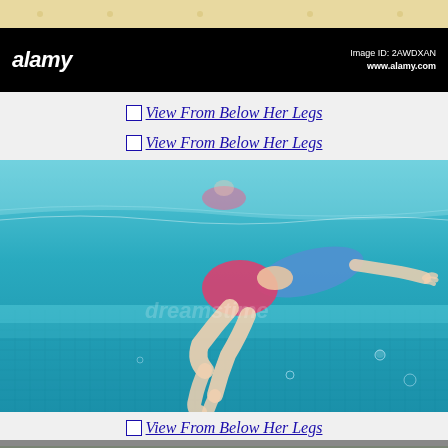[Figure (other): Top beige/cream strip]
alamy   Image ID: 2AWDXAN   www.alamy.com
View From Below Her Legs (link row 1)
View From Below Her Legs (link row 2)
[Figure (photo): Underwater photo of a girl swimming in a blue mosaic-tiled pool, viewed from below, wearing pink shorts and a blue/pink swimsuit top, with another swimmer visible in the background. A dreamstime watermark is visible.]
View From Below Her Legs (link row 3)
[Figure (photo): Bottom partial photo strip showing people outdoors]